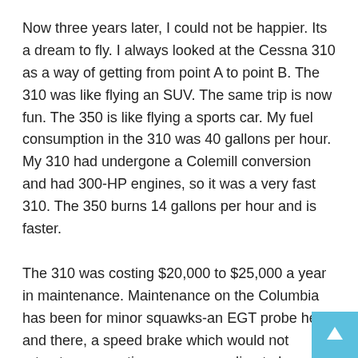Now three years later, I could not be happier. Its a dream to fly. I always looked at the Cessna 310 as a way of getting from point A to point B. The 310 was like flying an SUV. The same trip is now fun. The 350 is like flying a sports car. My fuel consumption in the 310 was 40 gallons per hour. My 310 had undergone a Colemill conversion and had 300-HP engines, so it was a very fast 310. The 350 burns 14 gallons per hour and is faster.
The 310 was costing $20,000 to $25,000 a year in maintenance. Maintenance on the Columbia has been for minor squawks-an EGT probe here and there, a speed brake which would not retract, a magnetic compass needing to be reglued to the windshield-really nothing major. The cost of annualing the 350 is 1/20th the cost of the last few annuals in the 310.